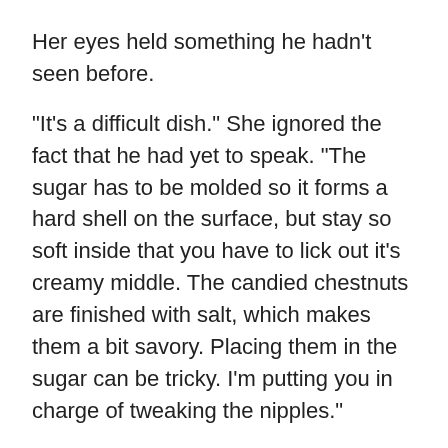Her eyes held something he hadn't seen before.
“It’s a difficult dish.” She ignored the fact that he had yet to speak. “The sugar has to be molded so it forms a hard shell on the surface, but stay so soft inside that you have to lick out it’s creamy middle. The candied chestnuts are finished with salt, which makes them a bit savory. Placing them in the sugar can be tricky. I’m putting you in charge of tweaking the nipples.”
Holy fuck.
But he followed her lead.
“So, tell me.” he asked cautiously, once they got started. “What led to this change of heart?”
“Tiramisu is so predictable.” Her voice lost some of its